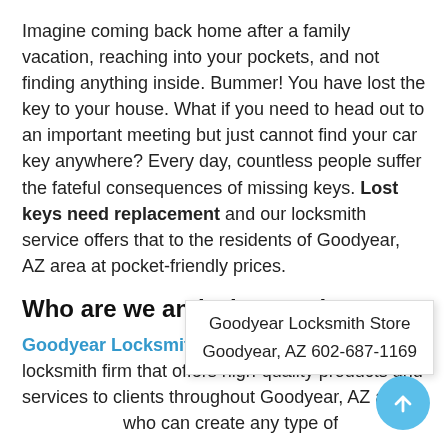Imagine coming back home after a family vacation, reaching into your pockets, and not finding anything inside. Bummer! You have lost the key to your house. What if you need to head out to an important meeting but just cannot find your car key anywhere? Every day, countless people suffer the fateful consequences of missing keys. Lost keys need replacement and our locksmith service offers that to the residents of Goodyear, AZ area at pocket-friendly prices.
Who are we and what we do?
Goodyear Locksmith Store is a decade-old locksmith firm that offers high-quality products and services to clients throughout Goodyear, AZ area who can create any type of or commercial purposes.
Goodyear Locksmith Store
Goodyear, AZ 602-687-1169
Types of keys made
Be it an automotive transpo